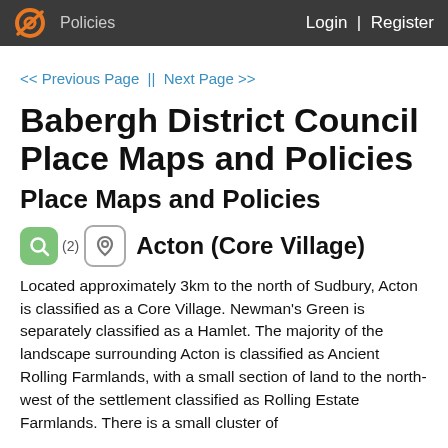OC  Policies    Login | Register
<< Previous Page || Next Page >>
Babergh District Council Place Maps and Policies
Place Maps and Policies
Acton (Core Village)
Located approximately 3km to the north of Sudbury, Acton is classified as a Core Village. Newman's Green is separately classified as a Hamlet. The majority of the landscape surrounding Acton is classified as Ancient Rolling Farmlands, with a small section of land to the north-west of the settlement classified as Rolling Estate Farmlands. There is a small cluster of